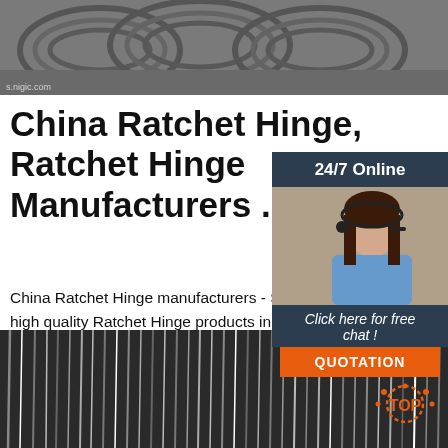[Figure (photo): Coiled wire rods, gray, stacked]
China Ratchet Hinge, Ratchet Hinge Manufacturers ...
China Ratchet Hinge manufacturers - Select high quality Ratchet Hinge products in bulk from certified Chinese Cabinet Hinge, Cabinet Hardware Hinge suppliers, wholesalers a...
[Figure (photo): Customer service representative with headset, smiling, with '24/7 Online' header and 'Click here for free chat!' and 'QUOTATION' button]
[Figure (photo): Close-up of dark gray wire rods, vertical lines texture, with TOP badge overlay]